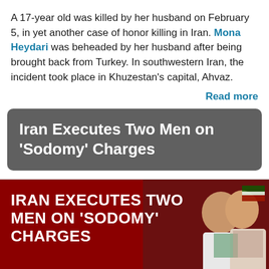A 17-year old was killed by her husband on February 5, in yet another case of honor killing in Iran. Mona Heydari was beheaded by her husband after being brought back from Turkey. In southwestern Iran, the incident took place in Khuzestan's capital, Ahvaz.
Read more
Iran Executes Two Men on 'Sodomy' Charges
[Figure (photo): News thumbnail showing headline 'IRAN EXECUTES TWO MEN ON SODOMY CHARGES' overlaid on a dark red background with a photo of two men kissing and an Iranian flag visible.]